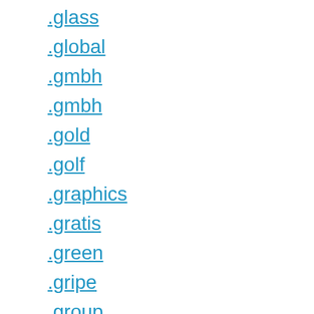.glass
.global
.gmbh
.gmbh
.gold
.golf
.graphics
.gratis
.green
.gripe
.group
.guide
.guide
.guitars
.haus
.health
.health
.healthcare